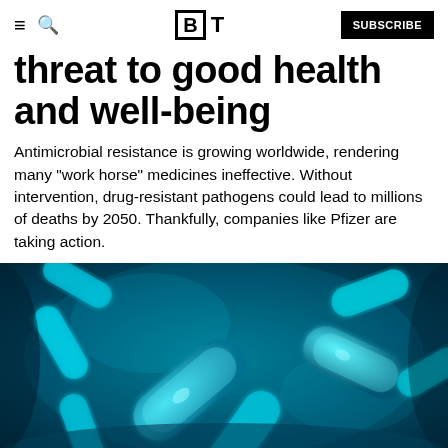≡ 🔍 [B|T] SUBSCRIBE
threat to good health and well-being
Antimicrobial resistance is growing worldwide, rendering many "work horse" medicines ineffective. Without intervention, drug-resistant pathogens could lead to millions of deaths by 2050. Thankfully, companies like Pfizer are taking action.
[Figure (photo): Microscopic 3D illustration of glowing cyan/blue rod-shaped bacteria on a dark teal background]